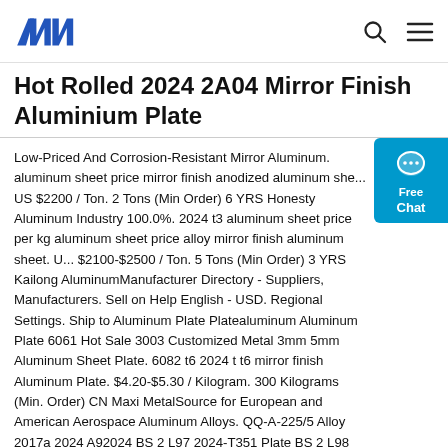ANN logo | search | menu
Hot Rolled 2024 2A04 Mirror Finish Aluminium Plate
Low-Priced And Corrosion-Resistant Mirror Aluminum. aluminum sheet price mirror finish anodized aluminum she... US $2200 / Ton. 2 Tons (Min Order) 6 YRS Honesty Aluminum Industry 100.0%. 2024 t3 aluminum sheet price per kg aluminum sheet price alloy mirror finish aluminum sheet. U... $2100-$2500 / Ton. 5 Tons (Min Order) 3 YRS Kailong AluminumManufacturer Directory - Suppliers, Manufacturers. Sell on Help English - USD. Regional Settings. Ship to Aluminum Plate Platealuminum Aluminum Plate 6061 Hot Sale 3003 Customized Metal 3mm 5mm Aluminum Sheet Plate. 6082 t6 2024 t t6 mirror finish Aluminum Plate. $4.20-$5.30 / Kilogram. 300 Kilograms (Min. Order) CN Maxi MetalSource for European and American Aerospace Aluminum Alloys. QQ-A-225/5 Alloy 2017a 2024 A92024 BS 2 L97 2024-T351 Plate BS 2 L98 2... Plate BS L109 2024-T4 Clad sheet BS L110 2024-F Clad sh... British Aerospace S071009 DTD 5100A Clad plate AMS 4033 2024-T351 AMS 4034 2024-T351 AMS 4035 2024-T0 sheet ,plate AMS 4036 2024-T3/T351 sheet Alclad one China Hot Rolled 2024